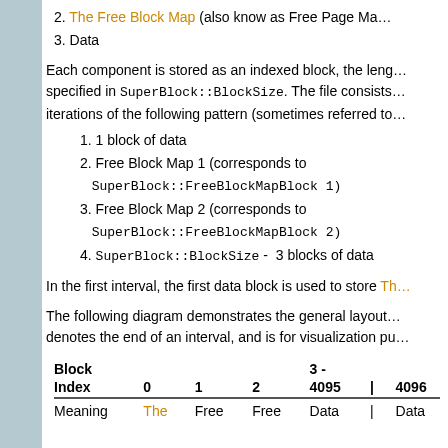2. The Free Block Map (also know as Free Page Ma…
3. Data
Each component is stored as an indexed block, the leng… specified in SuperBlock::BlockSize. The file consists… iterations of the following pattern (sometimes referred to…
1. 1 block of data
2. Free Block Map 1 (corresponds to SuperBlock::FreeBlockMapBlock 1)
3. Free Block Map 2 (corresponds to SuperBlock::FreeBlockMapBlock 2)
4. SuperBlock::BlockSize -  3 blocks of data
In the first interval, the first data block is used to store Th…
The following diagram demonstrates the general layout… denotes the end of an interval, and is for visualization pu…
| Block Index | 0 | 1 | 2 | 3 - 4095 | | | 4096 |
| --- | --- | --- | --- | --- | --- | --- |
| Meaning | The | Free | Free | Data | | | Data |